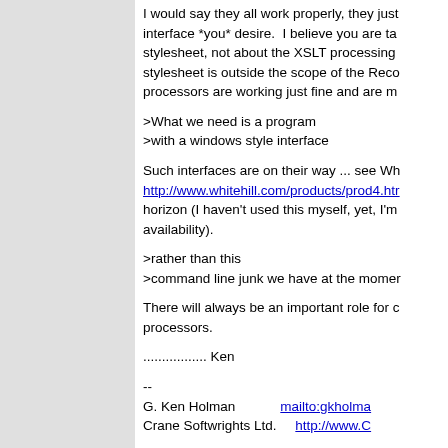I would say they all work properly, they just don't provide the interface *you* desire. I believe you are talking about the stylesheet, not about the XSLT processing. The design of the stylesheet is outside the scope of the Recommendation. The processors are working just fine and are more than compliant.
>What we need is a program
>with a windows style interface
Such interfaces are on their way ... see Whitehill at http://www.whitehill.com/products/prod4.htm on the horizon (I haven't used this myself, yet, I'm just aware of its availability).
>rather than this
>command line junk we have at the moment
There will always be an important role for command line processors.
................. Ken
--
G. Ken Holman    mailto:gkholman@...
Crane Softwrights Ltd.    http://www.C...